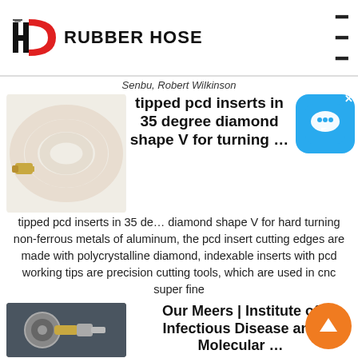[Figure (logo): HD Rubber Hose logo with red D shape and black H on left, bold black text RUBBER HOSE on right, hamburger menu icon top right]
Senbu, Robert Wilkinson
tipped pcd inserts in 35 degree diamond shape V for turning …
tipped pcd inserts in 35 degree diamond shape V for hard turning non-ferrous metals of aluminum, the pcd insert cutting edges are made with polycrystalline diamond, indexable inserts with pcd working tips are precision cutting tools, which are used in cnc super fine
Our Meers | Institute of Infectious Disease and Molecular …